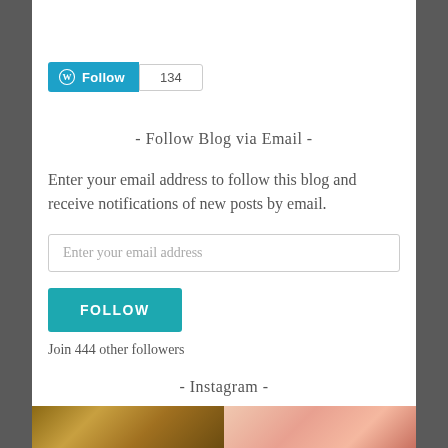[Figure (other): WordPress Follow button with count badge showing 134]
- Follow Blog via Email -
Enter your email address to follow this blog and receive notifications of new posts by email.
Enter your email address
FOLLOW
Join 444 other followers
- Instagram -
[Figure (photo): Instagram photo thumbnails at bottom of page]